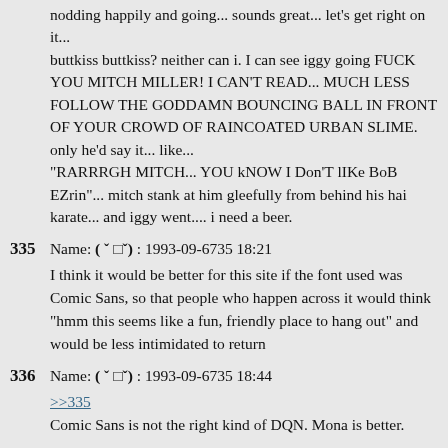nodding happily and going... sounds great... let's get right on it...
buttkiss buttkiss? neither can i. I can see iggy going FUCK YOU MITCH MILLER! I CAN'T READ... MUCH LESS FOLLOW THE GODDAMN BOUNCING BALL IN FRONT OF YOUR CROWD OF RAINCOATED URBAN SLIME.
only he'd say it... like...
"RARRRGH MITCH... YOU kNOW I Don'T lIKe BoB EZrin"... mitch stank at him gleefully from behind his hai karate... and iggy went.... i need a beer.
335  Name: ( ˇ □ˇ) : 1993-09-6735 18:21
I think it would be better for this site if the font used was Comic Sans, so that people who happen across it would think "hmm this seems like a fun, friendly place to hang out" and would be less intimidated to return
336  Name: ( ˇ □ˇ) : 1993-09-6735 18:44
>>335
Comic Sans is not the right kind of DQN. Mona is better.
337  Name: ( ˇ □ˇ) : 1993-09-6735 19:21
>>337